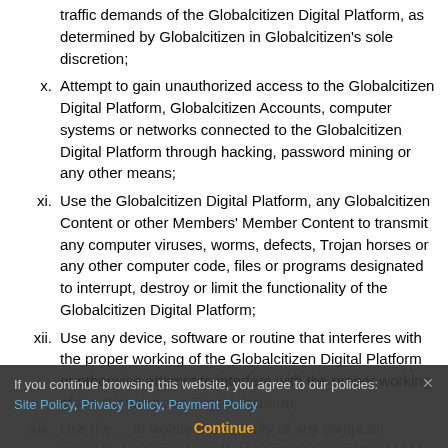traffic demands of the Globalcitizen Digital Platform, as determined by Globalcitizen in Globalcitizen's sole discretion;
x. Attempt to gain unauthorized access to the Globalcitizen Digital Platform, Globalcitizen Accounts, computer systems or networks connected to the Globalcitizen Digital Platform through hacking, password mining or any other means;
xi. Use the Globalcitizen Digital Platform, any Globalcitizen Content or other Members' Member Content to transmit any computer viruses, worms, defects, Trojan horses or any other computer code, files or programs designated to interrupt, destroy or limit the functionality of the Globalcitizen Digital Platform;
xii. Use any device, software or routine that interferes with the proper working of the Globalcitizen Digital Platform or otherwise attempt to interfere with the proper working of the Globalcitizen Digital Platform;
xiii. Use the ... to violate the security of any computer network, crack passwords or security encryption codes, solicit or intercept, redirect or...